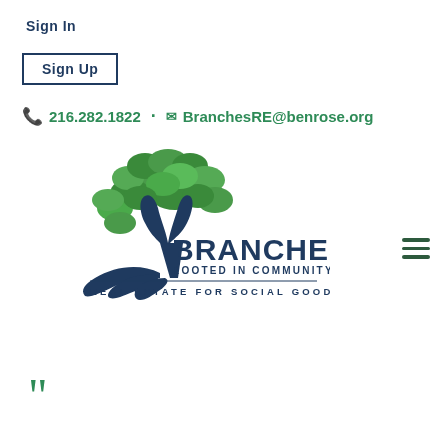Sign In
Sign Up
216.282.1822 · BranchesRE@benrose.org
[Figure (logo): Branches Real Estate logo: a green tree with navy blue trunk and roots, text reading BRANCHES ROOTED IN COMMUNITY REAL ESTATE FOR SOCIAL GOOD]
❝